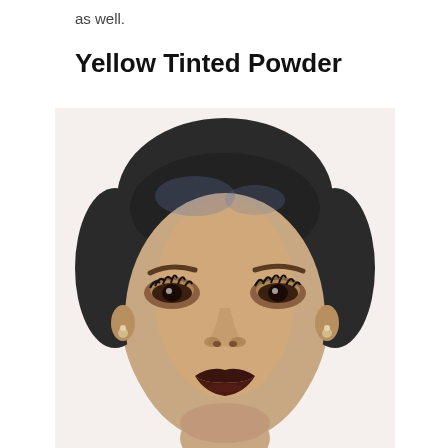as well.
Yellow Tinted Powder
[Figure (photo): Close-up portrait photo of a woman with dark hair pulled back, wearing dramatic eye makeup with shimmer eyeshadow and heavy lashes, defined arched eyebrows, and very dark burgundy-brown lipstick. She wears small diamond stud earrings. The background is white/light.]